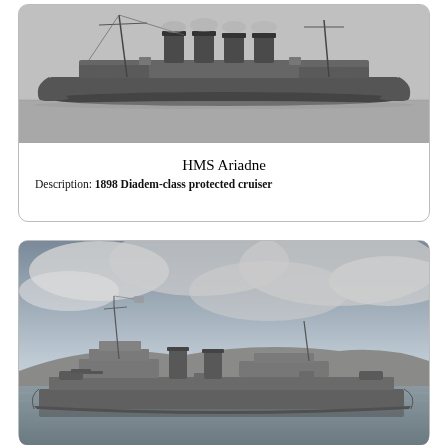[Figure (photo): Black and white photograph of HMS Ariadne, a large Victorian-era warship with multiple funnels and masts, seen broadside on calm water]
HMS Ariadne
Description: 1898 Diadem-class protected cruiser
[Figure (photo): Black and white photograph of a mid-20th century Royal Navy warship, a smaller destroyer or frigate type vessel, seen broadside with hills in the background and cloudy sky]